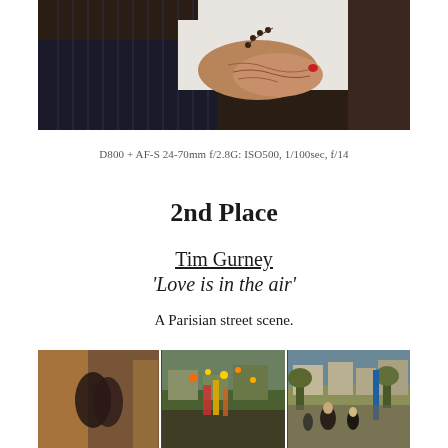[Figure (photo): Close-up photo of an elderly person's wrinkled hands resting on dark pinstripe-patterned clothing, with a white shirt visible in the background.]
D800 + AF-S 24-70mm f/2.8G: ISO500, 1/100sec, f/14
2nd Place
Tim Gurney
'Love is in the air'
A Parisian street scene.
[Figure (photo): A triptych of three photographs showing a Parisian street scene: left panel shows a couple embracing near a food stall, middle panel shows a busy street with colorful lights and a carousel/fair atmosphere with crowds, right panel shows a busy Parisian boulevard with pedestrians walking under trees.]